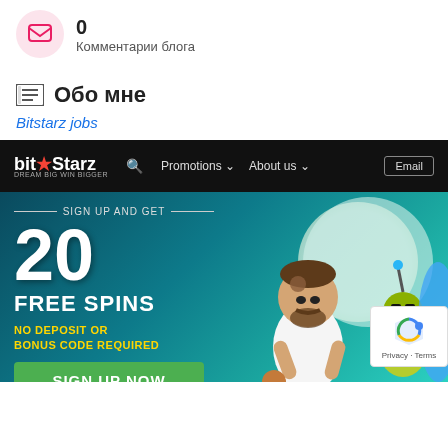0
Комментарии блога
Обо мне
Bitstarz jobs
[Figure (screenshot): BitStarz casino website screenshot showing promotional banner: SIGN UP AND GET 20 FREE SPINS, NO DEPOSIT OR BONUS CODE REQUIRED, with SIGN UP NOW green button. Navigation bar shows bit★Starz logo, Promotions, About us, Email. reCAPTCHA badge visible bottom right with Privacy - Terms text.]